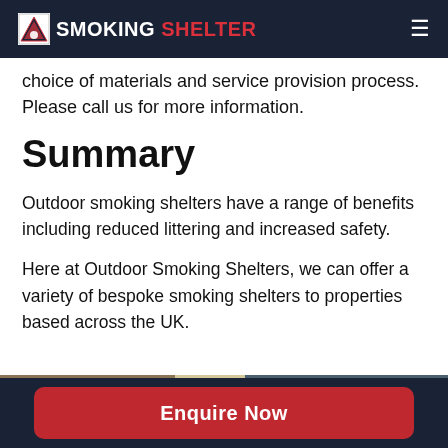SMOKING SHELTER
choice of materials and service provision process. Please call us for more information.
Summary
Outdoor smoking shelters have a range of benefits including reduced littering and increased safety.
Here at Outdoor Smoking Shelters, we can offer a variety of bespoke smoking shelters to properties based across the UK.
[Figure (photo): Strip of photos showing outdoor smoking shelter products]
Enquire Now